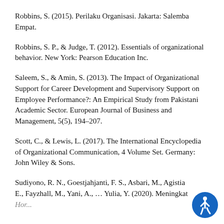Robbins, S. (2015). Perilaku Organisasi. Jakarta: Salemba Empat.
Robbins, S. P., & Judge, T. (2012). Essentials of organizational behavior. New York: Pearson Education Inc.
Saleem, S., & Amin, S. (2013). The Impact of Organizational Support for Career Development and Supervisory Support on Employee Performance?: An Empirical Study from Pakistani Academic Sector. European Journal of Business and Management, 5(5), 194–207.
Scott, C., & Lewis, L. (2017). The International Encyclopedia of Organizational Communication, 4 Volume Set. Germany: John Wiley & Sons.
Sudiyono, R. N., Goestjahjanti, F. S., Asbari, M., Agistia, E., Fayzhall, M., Yani, A., … Yulia, Y. (2020). Meningkat...